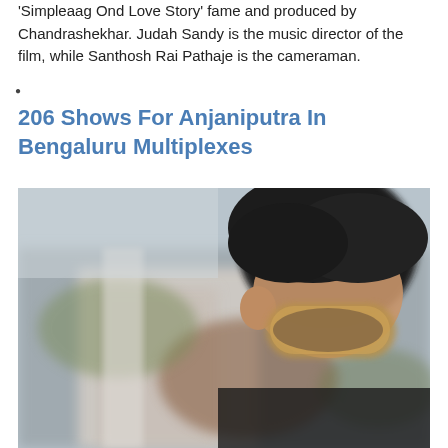Simpleaag Ond Love Story' fame and produced by Chandrashekhar. Judah Sandy is the music director of the film, while Santhosh Rai Pathaje is the cameraman.
206 Shows For Anjaniputra In Bengaluru Multiplexes
[Figure (photo): A man with dark curly hair wearing sunglasses, photographed outdoors with a blurred background showing buildings and greenery. The image is cropped to show the head and upper body area.]